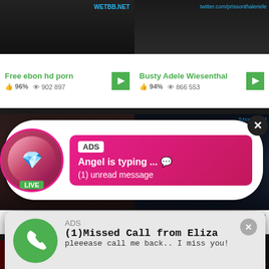[Figure (screenshot): Adult video thumbnail grid with overlaid ad notifications. Top-left thumbnail dark with WETBB.NET watermark. Top-right with twitter.com watermark. Middle-left: person in bathroom. Middle-right: anime character. Bottom row: additional thumbnails. Two ad overlays: a chat bubble showing 'Angel is typing...' and a missed call media player notification from Eliza.]
Free ebon hd porn
96%  902 897
Busty Adele Wiesenthal
94%  866 553
[HD] Delicious Ebony
98%
Fuking my busty Aunt |
ADS
Angel is typing ... 💬
(1) unread message
LIVE
ADS
(1)Missed Call from Eliza
pleeease call me back.. I miss you!
0:00
3:23